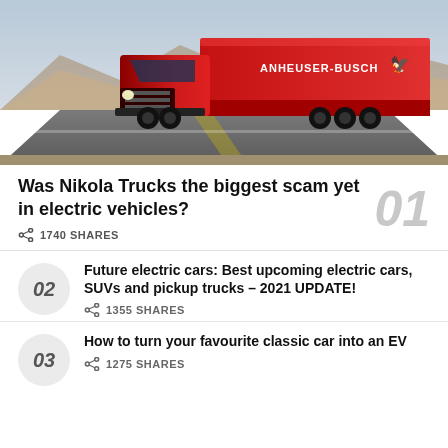[Figure (photo): A red Nikola semi-truck with ANHEUSER-BUSCH branding driving on a highway road through an arid landscape.]
Was Nikola Trucks the biggest scam yet in electric vehicles?
1740 SHARES
Future electric cars: Best upcoming electric cars, SUVs and pickup trucks – 2021 UPDATE!
1355 SHARES
How to turn your favourite classic car into an EV
1275 SHARES